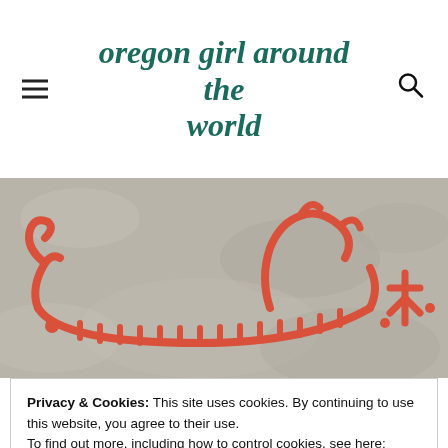oregon girl around the world
[Figure (photo): A rock carving (petroglyph) showing a Viking ship painted in red/orange on a granite rock surface. The ship has a curved hull with oars or teeth along the bottom, decorative prow, and a small human figure to the right.]
Privacy & Cookies: This site uses cookies. By continuing to use this website, you agree to their use.
To find out more, including how to control cookies, see here: Cookie Policy
Close and accept